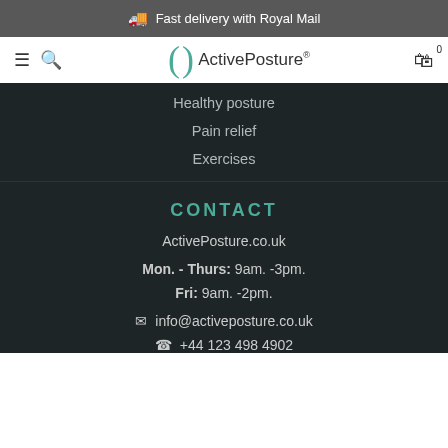Fast delivery with Royal Mail
[Figure (logo): ActivePosture logo with teal parenthesis brackets and brand name]
Healthy posture
Pain relief
Exercises
CONTACT
ActivePosture.co.uk
Mon. - Thurs: 9am. -3pm.
Fri: 9am. -2pm.
info@activeposture.co.uk
+44 123 498 4902